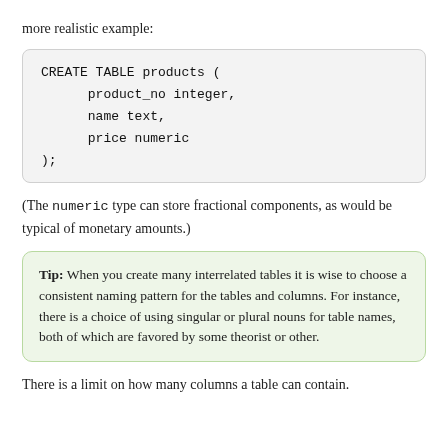more realistic example:
CREATE TABLE products (
    product_no integer,
    name text,
    price numeric
);
(The numeric type can store fractional components, as would be typical of monetary amounts.)
Tip: When you create many interrelated tables it is wise to choose a consistent naming pattern for the tables and columns. For instance, there is a choice of using singular or plural nouns for table names, both of which are favored by some theorist or other.
There is a limit on how many columns a table can contain.